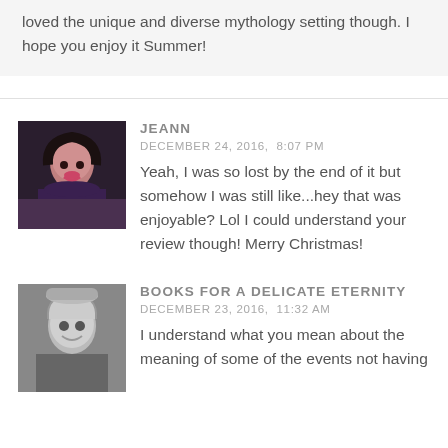loved the unique and diverse mythology setting though. I hope you enjoy it Summer!
JEANN
DECEMBER 24, 2016,  8:07 PM
Yeah, I was so lost by the end of it but somehow I was still like...hey that was enjoyable? Lol I could understand your review though! Merry Christmas!
BOOKS FOR A DELICATE ETERNITY
DECEMBER 23, 2016,  11:32 AM
I understand what you mean about the meaning of some of the events not having